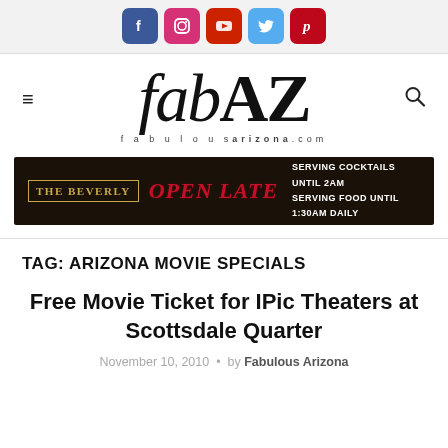[Figure (logo): Social media icons: Facebook, Instagram, YouTube, Twitter, Pinterest]
[Figure (logo): fabAZ logo with subtitle fabulousARIZONA.com, hamburger menu and search icon]
[Figure (other): The Beverly advertisement banner: OPEN LATE - Serving cocktails until 2am, serving food until 1:30am daily]
TAG: ARIZONA MOVIE SPECIALS
Free Movie Ticket for IPic Theaters at Scottsdale Quarter
November 10, 2010  •  by Fabulous Arizona